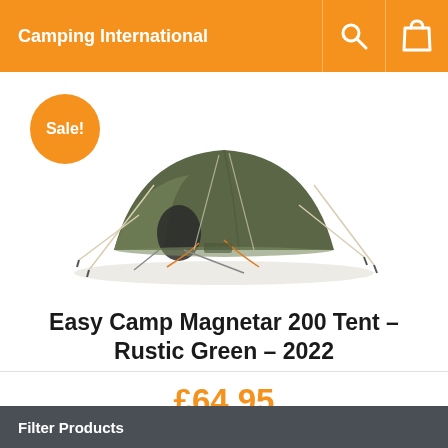Camping International
[Figure (photo): Green tunnel tent (Easy Camp Magnetar 200) on white background with a Sale! badge overlay]
Easy Camp Magnetar 200 Tent – Rustic Green – 2022
£64.95
Filter Products